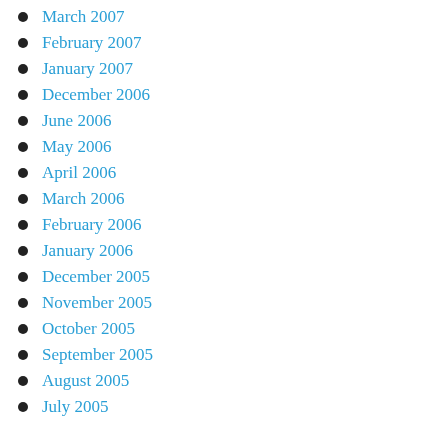March 2007
February 2007
January 2007
December 2006
June 2006
May 2006
April 2006
March 2006
February 2006
January 2006
December 2005
November 2005
October 2005
September 2005
August 2005
July 2005